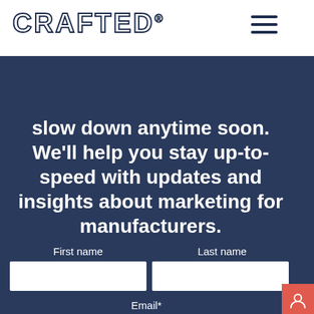CRAFTED
slow down anytime soon. We'll help you stay up-to-speed with updates and insights about marketing for manufacturers.
First name
Last name
Email*
Subscribe